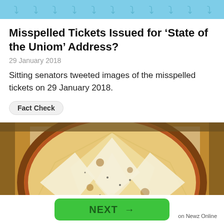Twitter bird icon banner
Misspelled Tickets Issued for ‘State of the Uniom’ Address?
29 January 2018
Sitting senators tweeted images of the misspelled tickets on 29 January 2018.
Fact Check
[Figure (photo): Close-up photo of a cheese pizza in a cardboard box, showing melted white cheese slices arranged in a star/triangle pattern over tomato sauce.]
NEXT →
on Newz Online